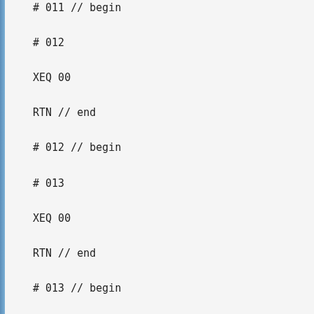# 011 // begin
# 012
XEQ 00
RTN // end
# 012 // begin
# 013
XEQ 00
RTN // end
# 013 // begin
# 015
XEQ 00
RTN // end
# 015 // begin